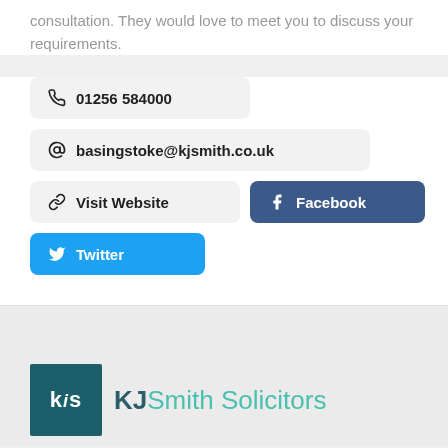consultation. They would love to meet you to discuss your requirements.
01256 584000
basingstoke@kjsmith.co.uk
Visit Website
Facebook
Twitter
[Figure (logo): KJ Smith Solicitors logo with teal background box showing 'kis' initials and full firm name in teal]